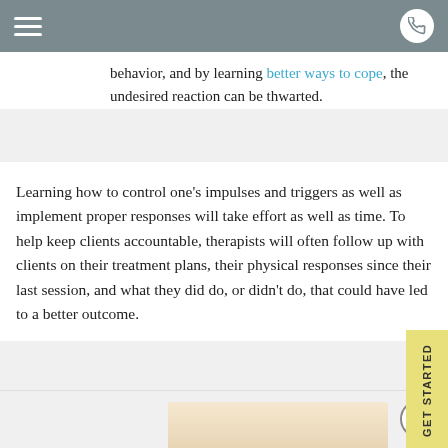Navigation header with hamburger menu and phone icon
behavior, and by learning better ways to cope, the undesired reaction can be thwarted.
Learning how to control one’s impulses and triggers as well as implement proper responses will take effort as well as time. To help keep clients accountable, therapists will often follow up with clients on their treatment plans, their physiological responses since their last session, and what they did do, or didn’t do, that could have led to a better outcome.
[Figure (photo): Photo of people, partially visible at bottom of page with warm sunset tones background]